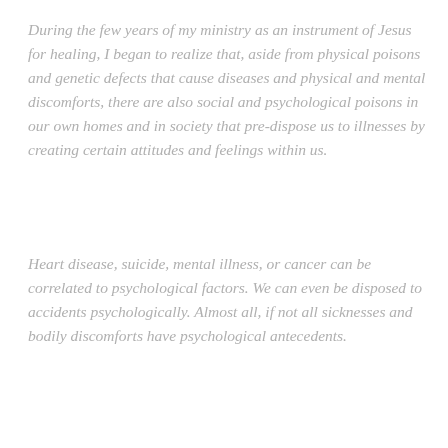During the few years of my ministry as an instrument of Jesus for healing, I began to realize that, aside from physical poisons and genetic defects that cause diseases and physical and mental discomforts, there are also social and psychological poisons in our own homes and in society that pre-dispose us to illnesses by creating certain attitudes and feelings within us.
Heart disease, suicide, mental illness, or cancer can be correlated to psychological factors. We can even be disposed to accidents psychologically. Almost all, if not all sicknesses and bodily discomforts have psychological antecedents.